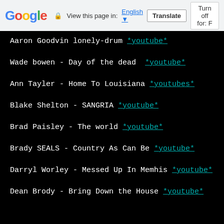Google | View this page in: English [▼] | Translate | Turn off for: F
Aaron Goodvin lonely-drum *youtube*
Wade bowen - Day of the dead  *youtube*
Ann Tayler - Home To Louisiana *youtubes*
Blake Shelton - SANGRIA *youtube*
Brad Paisley - The world *youtube*
Brady SEALS - Country As Can Be *youtube*
Darryl Worley - Messed Up In Memhis *youtube*
Dean Brody - Bring Down the House *youtube*